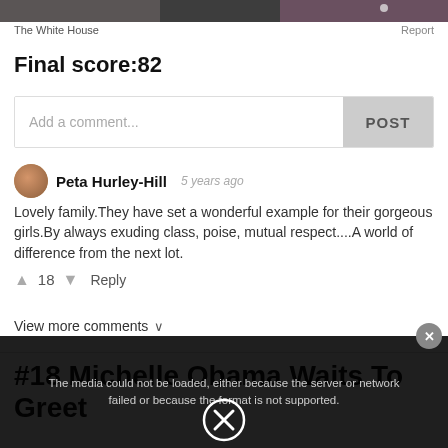[Figure (photo): Top strip — partial photo of group of people, dark tones]
The White House    Report
Final score:82
Add a comment...  POST
Peta Hurley-Hill  5 years ago
Lovely family.They have set a wonderful example for their gorgeous girls.By always exuding class, poise, mutual respect....A world of difference from the next lot.
▲ 18 ▼  Reply
View more comments ∨
#18 Michelle Obama Waits To Greet
The media could not be loaded, either because the server or network failed or because the format is not supported.